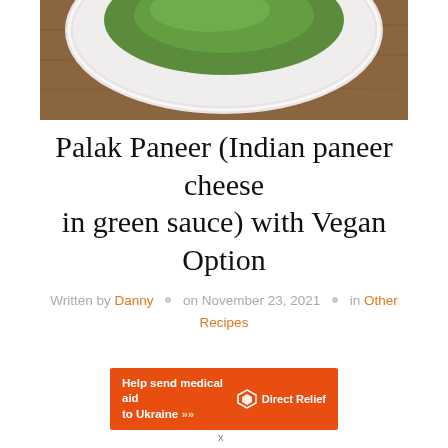[Figure (photo): Top portion of a photo showing a white plate with green palak paneer sauce on a wooden table background, partially cropped]
Palak Paneer (Indian paneer cheese in green sauce) with Vegan Option
Written by Danny • on November 23, 2021 • in Other Recipes
[Figure (infographic): Orange advertisement banner reading 'Help send medical aid to Ukraine >>' with Direct Relief logo on the right]